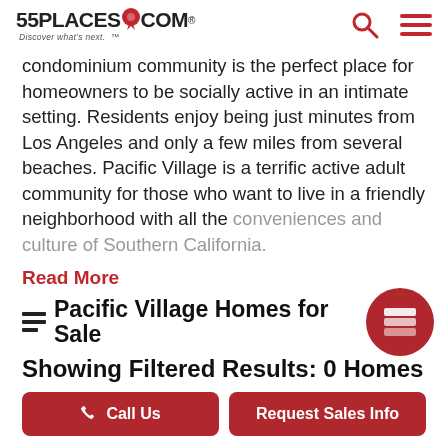55PLACES.COM — Discover what's next.
condominium community is the perfect place for homeowners to be socially active in an intimate setting. Residents enjoy being just minutes from Los Angeles and only a few miles from several beaches. Pacific Village is a terrific active adult community for those who want to live in a friendly neighborhood with all the conveniences and culture of Southern California.
Read More
Pacific Village Homes for Sale
Showing Filtered Results: 0 Homes
Call Us
Request Sales Info